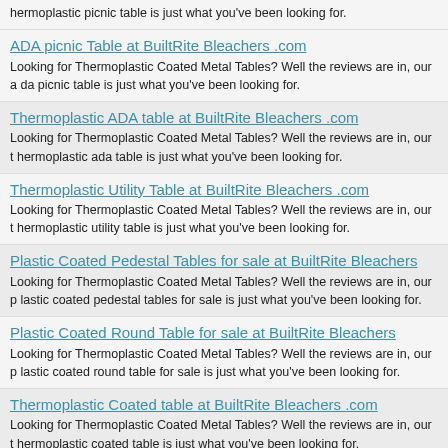hermoplastic picnic table is just what you've been looking for.
ADA picnic Table at BuiltRite Bleachers .com — Looking for Thermoplastic Coated Metal Tables? Well the reviews are in, our a da picnic table is just what you've been looking for.
Thermoplastic ADA table at BuiltRite Bleachers .com — Looking for Thermoplastic Coated Metal Tables? Well the reviews are in, our t hermoplastic ada table is just what you've been looking for.
Thermoplastic Utility Table at BuiltRite Bleachers .com — Looking for Thermoplastic Coated Metal Tables? Well the reviews are in, our t hermoplastic utility table is just what you've been looking for.
Plastic Coated Pedestal Tables for sale at BuiltRite Bleachers — Looking for Thermoplastic Coated Metal Tables? Well the reviews are in, our p lastic coated pedestal tables for sale is just what you've been looking for.
Plastic Coated Round Table for sale at BuiltRite Bleachers — Looking for Thermoplastic Coated Metal Tables? Well the reviews are in, our p lastic coated round table for sale is just what you've been looking for.
Thermoplastic Coated table at BuiltRite Bleachers .com — Looking for Thermoplastic Coated Metal Tables? Well the reviews are in, our t hermoplastic coated table is just what you've been looking for.
thermoplastic picnic table for sale at BuiltRite Bleachers — Looking for Thermoplastic Coated Metal Tables? Well the reviews are in, our t hermoplastic picnic table for sale is just what you've been looking for.